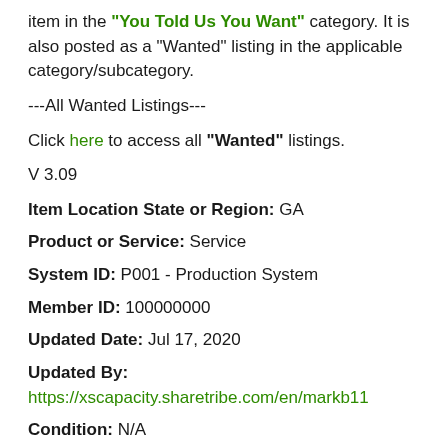item in the "You Told Us You Want" category. It is also posted as a "Wanted" listing in the applicable category/subcategory.
---All Wanted Listings---
Click here to access all "Wanted" listings.
V 3.09
Item Location State or Region: GA
Product or Service: Service
System ID: P001 - Production System
Member ID: 100000000
Updated Date: Jul 17, 2020
Updated By: https://xscapacity.sharetribe.com/en/markb11
Condition: N/A